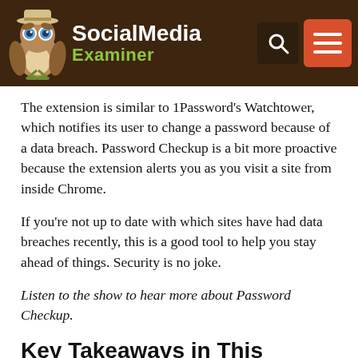Social Media Examiner
The extension is similar to 1Password's Watchtower, which notifies its user to change a password because of a data breach. Password Checkup is a bit more proactive because the extension alerts you as you visit a site from inside Chrome.
If you're not up to date with which sites have had data breaches recently, this is a good tool to help you stay ahead of things. Security is no joke.
Listen to the show to hear more about Password Checkup.
Key Takeaways in This Episode